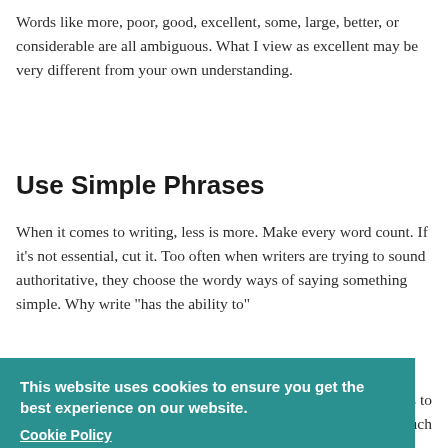Words like more, poor, good, excellent, some, large, better, or considerable are all ambiguous. What I view as excellent may be very different from your own understanding.
Use Simple Phrases
When it comes to writing, less is more. Make every word count. If it's not essential, cut it. Too often when writers are trying to sound authoritative, they choose the wordy ways of saying something simple. Why write “has the ability to”
s to much
This website uses cookies to ensure you get the best experience on our website. Cookie Policy Got it!
due to the fact that → because